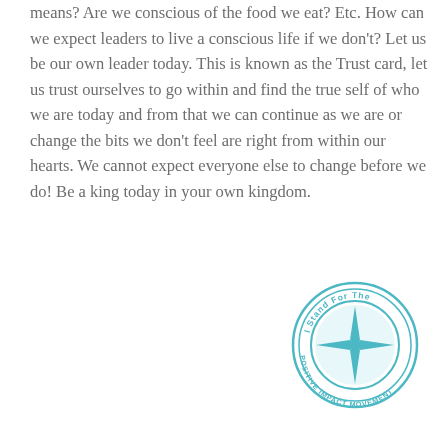means? Are we conscious of the food we eat? Etc. How can we expect leaders to live a conscious life if we don't? Let us be our own leader today. This is known as the Trust card, let us trust ourselves to go within and find the true self of who we are today and from that we can continue as we are or change the bits we don't feel are right from within our hearts. We cannot expect everyone else to change before we do! Be a king today in your own kingdom.
[Figure (logo): Circular badge logo reading 'I Stand For The POSITIVE IMPACT MOVEMENT' in teal/cyan color with a compass or star geometric design in the center]